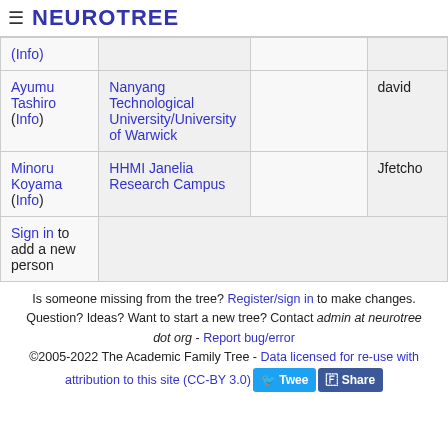≡ NEUROTREE
| Person | Institution |  | Added by |
| --- | --- | --- | --- |
| (Info) |  |  |  |
| Ayumu Tashiro (Info) | Nanyang Technological University/University of Warwick |  | david |
| Minoru Koyama (Info) | HHMI Janelia Research Campus |  | Jfetcho |
| Sign in to add a new person |  |  |  |
Is someone missing from the tree? Register/sign in to make changes. Question? Ideas? Want to start a new tree? Contact admin at neurotree dot org - Report bug/error
©2005-2022 The Academic Family Tree - Data licensed for re-use with attribution to this site (CC-BY 3.0)